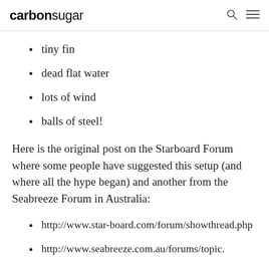carbonsugar
tiny fin
dead flat water
lots of wind
balls of steel!
Here is the original post on the Starboard Forum where some people have suggested this setup (and where all the hype began) and another from the Seabreeze Forum in Australia:
http://www.star-board.com/forum/showthread.php
http://www.seabreeze.com.au/forums/topic.